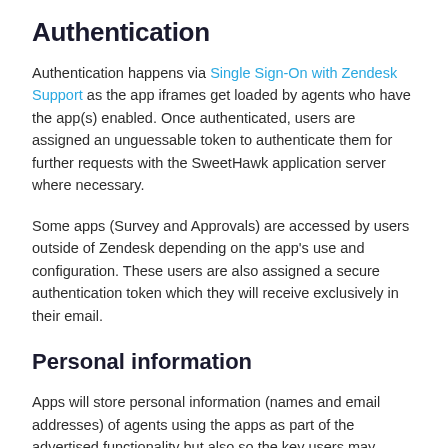Authentication
Authentication happens via Single Sign-On with Zendesk Support as the app iframes get loaded by agents who have the app(s) enabled. Once authenticated, users are assigned an unguessable token to authenticate them for further requests with the SweetHawk application server where necessary.
Some apps (Survey and Approvals) are accessed by users outside of Zendesk depending on the app's use and configuration. These users are also assigned a secure authentication token which they will receive exclusively in their email.
Personal information
Apps will store personal information (names and email addresses) of agents using the apps as part of the advertised functionality but also so the key users may